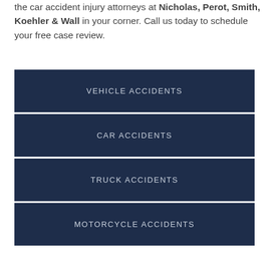the car accident injury attorneys at Nicholas, Perot, Smith, Koehler & Wall in your corner. Call us today to schedule your free case review.
VEHICLE ACCIDENTS
CAR ACCIDENTS
TRUCK ACCIDENTS
MOTORCYCLE ACCIDENTS